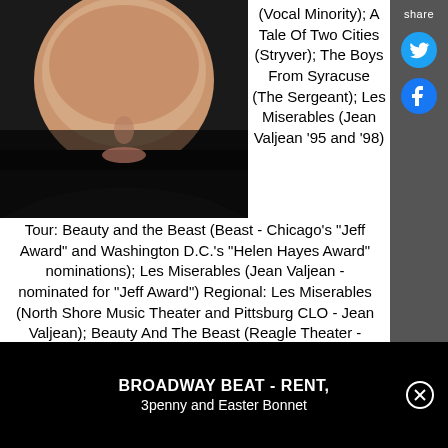[Figure (photo): Black and white headshot photo of a performer, showing lower portion of face and shoulders against dark background]
(Vocal Minority); A Tale Of Two Cities (Stryver); The Boys From Syracuse (The Sergeant); Les Miserables (Jean Valjean '95 and '98) Tour: Beauty and the Beast (Beast - Chicago's "Jeff Award" and Washington D.C.'s "Helen Hayes Award" nominations); Les Miserables (Jean Valjean - nominated for "Jeff Award") Regional: Les Miserables (North Shore Music Theater and Pittsburg CLO - Jean Valjean); Beauty And The Beast (Reagle Theater - Beast); Disney's High School Musical (North Shore Music Theater - Coach Bolton); Jekyll...
BROADWAY BEAT - RENT, 3penny and Easter Bonnet